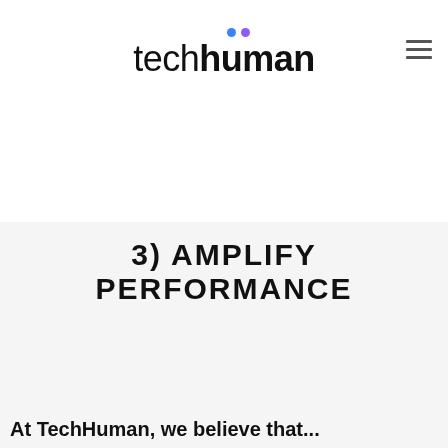techhuman
SCHEDULE A DISCOVERY CALL
3) AMPLIFY PERFORMANCE
SCHEDULE A DISCOVERY CALL
At TechHuman, we believe that...